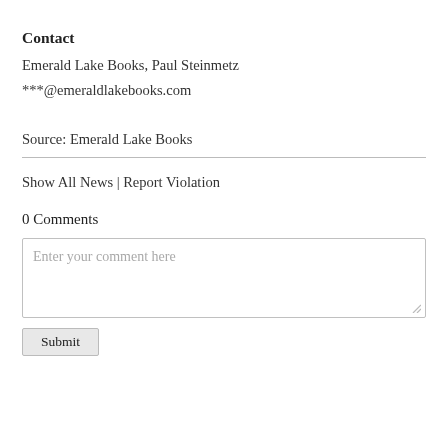Contact
Emerald Lake Books, Paul Steinmetz
***@emeraldlakebooks.com
Source: Emerald Lake Books
Show All News | Report Violation
0 Comments
Enter your comment here
Submit